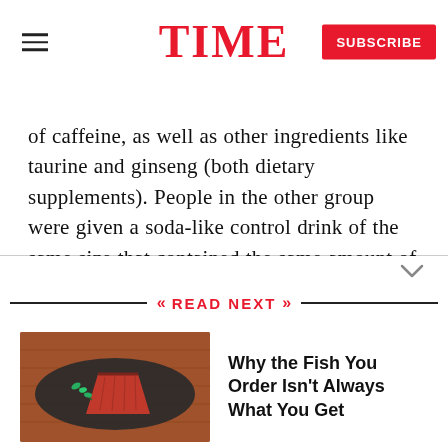TIME  SUBSCRIBE
of caffeine, as well as other ingredients like taurine and ginseng (both dietary supplements). People in the other group were given a soda-like control drink of the same size that contained the same amount of caffeine with a bit of lime juice, cherry syrup and carbonated water. After six days, the groups switched and drank the other beverage.
READ NEXT
[Figure (photo): A slice of red tuna fish on a dark slate board with a sprig of herb, placed on a wooden surface]
Why the Fish You Order Isn't Always What You Get